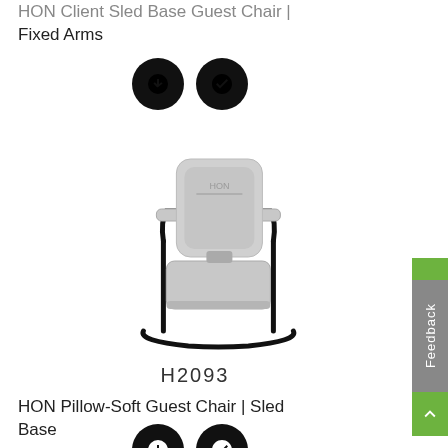HON Client Sled Base Guest Chair | Fixed Arms
[Figure (illustration): Two black circular buttons: one with download arrow icon, one with checkmark icon]
[Figure (photo): HON Pillow-Soft Guest Chair with sled base, light gray upholstery and black metal frame, shown in 3/4 view]
H2093
HON Pillow-Soft Guest Chair | Sled Base
[Figure (illustration): Two black circular buttons: one with download arrow icon, one with checkmark icon (partially visible at bottom)]
[Figure (other): Feedback tab on right side with green accent and back-to-top button]